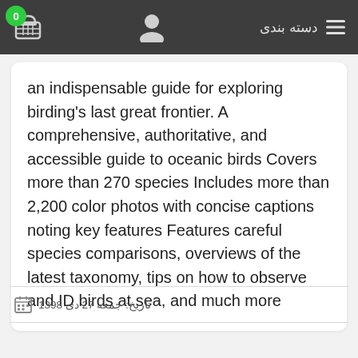دسته بندی
an indispensable guide for exploring birding's last great frontier. A comprehensive, authoritative, and accessible guide to oceanic birds Covers more than 270 species Includes more than 2,200 color photos with concise captions noting key features Features careful species comparisons, overviews of the latest taxonomy, tips on how to observe and ID birds at sea, and much more
تاریخ: جمعه 27 دی 1398